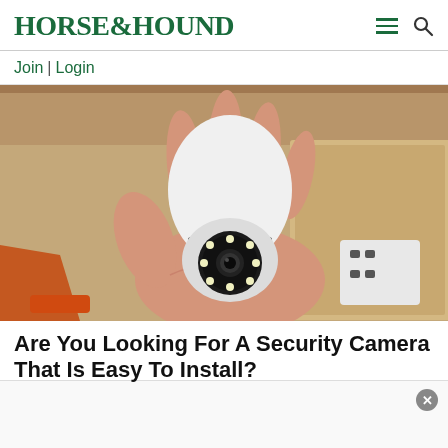HORSE&HOUND
Join | Login
[Figure (photo): A hand holding a white bulb-shaped security camera with a circular lens surrounded by LED lights, against a background of cardboard boxes and shelving]
Are You Looking For A Security Camera That Is Easy To Install?